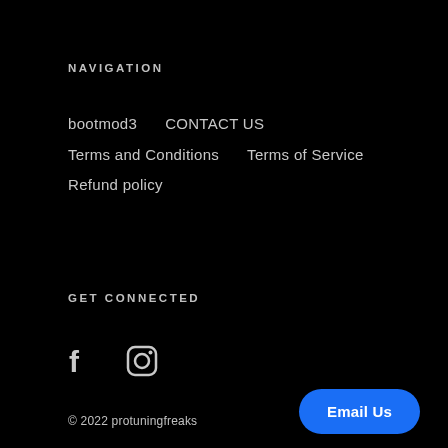NAVIGATION
bootmod3    CONTACT US
Terms and Conditions    Terms of Service
Refund policy
GET CONNECTED
[Figure (other): Facebook and Instagram social media icons]
© 2022 protuningfreaks
Email Us